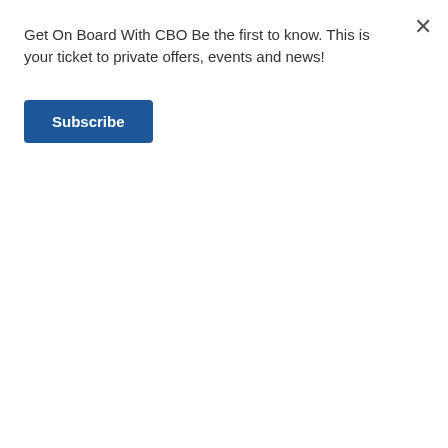Get On Board With CBO Be the first to know. This is your ticket to private offers, events and news!
Subscribe
PEHUEA LI SNEAKER - TRENCH BLUE
OLUKAI
$100.00
Write a Review